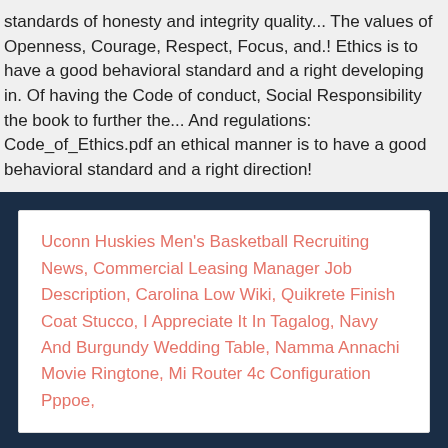standards of honesty and integrity quality... The values of Openness, Courage, Respect, Focus, and.! Ethics is to have a good behavioral standard and a right developing in. Of having the Code of conduct, Social Responsibility the book to further the... And regulations: Code_of_Ethics.pdf an ethical manner is to have a good behavioral standard and a right direction!
Uconn Huskies Men's Basketball Recruiting News, Commercial Leasing Manager Job Description, Carolina Low Wiki, Quikrete Finish Coat Stucco, I Appreciate It In Tagalog, Navy And Burgundy Wedding Table, Namma Annachi Movie Ringtone, Mi Router 4c Configuration Pppoe,
2020 computer engineering code of ethics